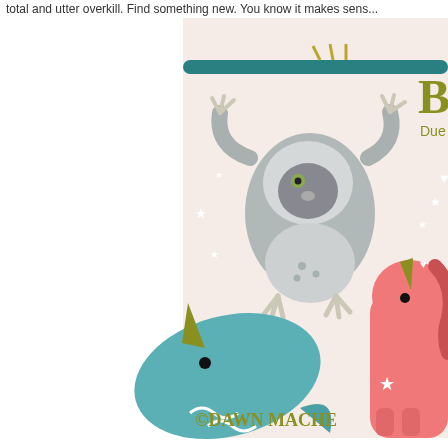total and utter overkill. Find something new. You know it makes sens...
[Figure (illustration): Baby shower illustration with cute cartoon animals: a gray sloth hanging from a teal branch at the top, a teal narwhal with a gold horn in the middle-left, and a pink unicorn/pegasus on the right. Background is light pink/cream. Text reads 'BA... Due...' in olive/gold lettering at top right, and '©DAWN MACHE...' at the bottom in olive lettering. White stars and hearts scattered throughout.]